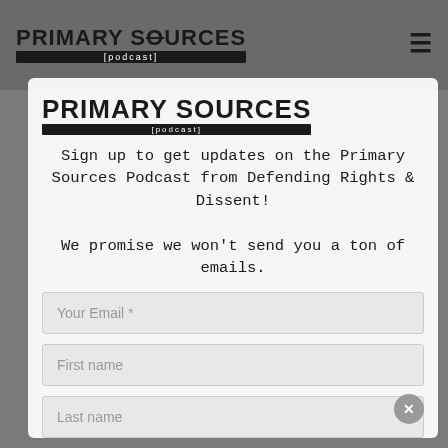[Figure (logo): Primary Sources Podcast logo in top navigation bar]
[Figure (logo): Primary Sources Podcast logo inside modal overlay]
Sign up to get updates on the Primary Sources Podcast from Defending Rights & Dissent! We promise we won't send you a ton of emails.
Your Email *
First name
Last name